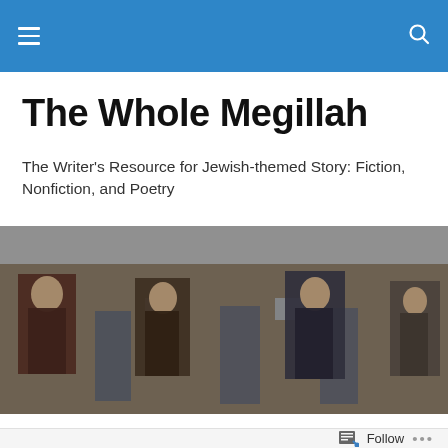The Whole Megillah — navigation bar
The Whole Megillah
The Writer's Resource for Jewish-themed Story: Fiction, Nonfiction, and Poetry
[Figure (photo): Photograph of an old brick building facade with large portrait photographs mounted on the exterior walls, showing four figures: a woman on the left, a man in suit, a woman in center, and a child on the right. The building has aged stone/brick walls with weathered doors and windows.]
TAGGED WITH NORA GOLD
Jewish Fiction Editors Speak Out | A Cyber Roundtable